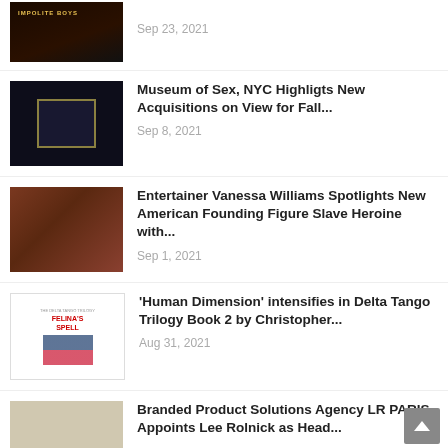[Figure (photo): Book cover for Impolite Boys, dark background]
Sep 23, 2021
Museum of Sex, NYC Highligts New Acquisitions on View for Fall...
[Figure (photo): Dark museum interior with illuminated display case]
Sep 8, 2021
Entertainer Vanessa Williams Spotlights New American Founding Figure Slave Heroine with...
[Figure (photo): Woman seated in chair against brick wall background]
Sep 1, 2021
'Human Dimension' intensifies in Delta Tango Trilogy Book 2 by Christopher...
[Figure (photo): Book cover for Felina's Spell]
Aug 31, 2021
Branded Product Solutions Agency LR PARIS Appoints Lee Rolnick as Head...
[Figure (photo): Partial image of branded product or textile]